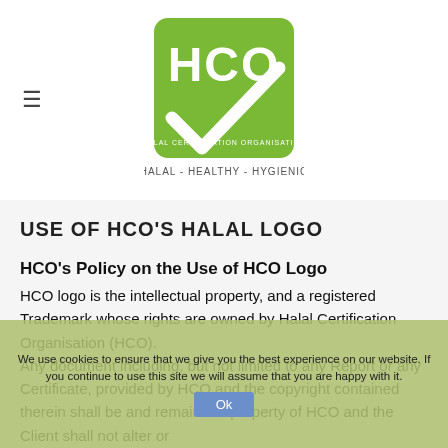[Figure (logo): HCO Halal Certification Organisation logo — green rounded square with HCO letters and a checkmark, tagline HALAL - HEALTHY - HYGIENIC]
USE OF HCO'S HALAL LOGO
HCO's Policy on the Use of HCO Logo
HCO logo is the intellectual property, and a registered Trademark whose rights are owned by Halal Certification Organisation (HCO).
Any document including, but not limited to any Report or any Certificate, provided by HCO and the copyright contained therein shall be and remain the property of HCO and the Client shall not alter or
We use cookies to ensure that we give you the best experience on our website. If you continue to use this site we will assume that you are happy with it.